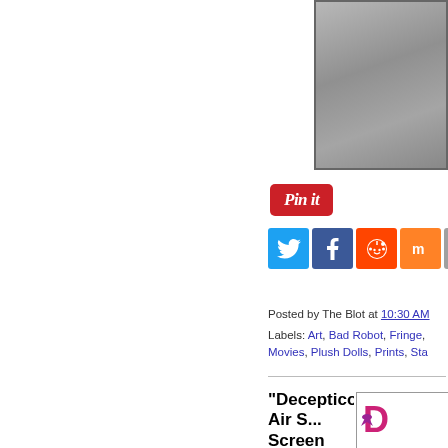[Figure (photo): Partially visible cropped gray image at top right, appears to be a product or art print photo]
[Figure (screenshot): Pinterest 'Pin it' button in red with white italic text]
[Figure (screenshot): Social sharing buttons row: Twitter (blue bird), Facebook (blue f), Reddit (orange alien), Mix (orange), Email (gray envelope)]
Posted by The Blot at 10:30 AM
Labels: Art, Bad Robot, Fringe, Movies, Plush Dolls, Prints, Sta...
"Decepticon Air S... Screen Prints by T...